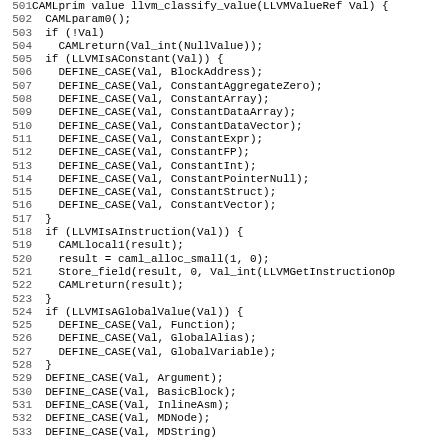[Figure (screenshot): Source code listing in monospace font showing C code for llvm_classify_value function, lines 501-532, with line numbers on the left and code content on the right.]